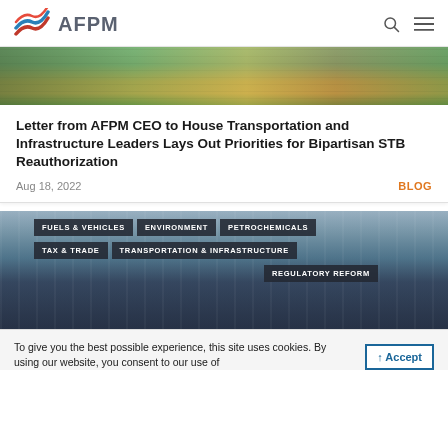AFPM
[Figure (photo): Aerial view of a railway with trains passing through green and autumn-colored trees]
Letter from AFPM CEO to House Transportation and Infrastructure Leaders Lays Out Priorities for Bipartisan STB Reauthorization
Aug 18, 2022
BLOG
[Figure (photo): Industrial petrochemical facility with topic category overlays: FUELS & VEHICLES, ENVIRONMENT, PETROCHEMICALS, TAX & TRADE, TRANSPORTATION & INFRASTRUCTURE, REGULATORY REFORM]
To give you the best possible experience, this site uses cookies. By using our website, you consent to our use of
Accept